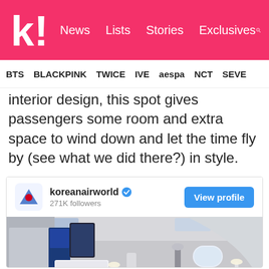kl! News Lists Stories Exclusives
BTS BLACKPINK TWICE IVE aespa NCT SEVE
interior design, this spot gives passengers some room and extra space to wind down and let the time fly by (see what we did there?) in style.
[Figure (screenshot): Instagram embed card showing koreanairworld account with 271K followers, a 'View profile' button, and a photo of a Korean Air lounge/cabin interior with white furniture, blue seating, lamps, and a bar area.]